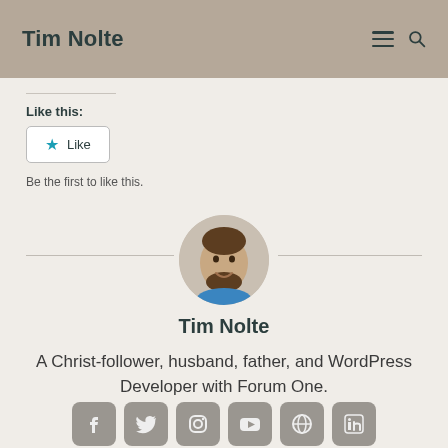Tim Nolte
Like this:
Like
Be the first to like this.
[Figure (photo): Circular avatar photo of Tim Nolte, a man with a beard smiling, wearing a blue shirt]
Tim Nolte
A Christ-follower, husband, father, and WordPress Developer with Forum One.
[Figure (infographic): Row of six social media icon buttons: Facebook, Twitter, Instagram, YouTube, and two others, in rounded gray squares]